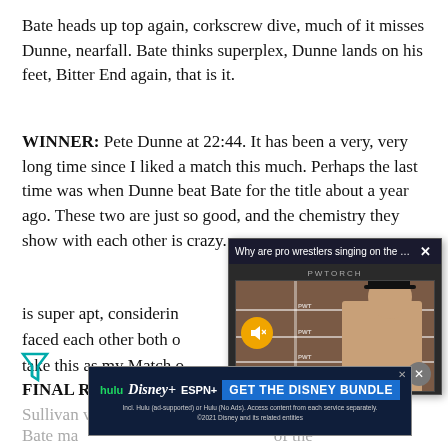Bate heads up top again, corkscrew dive, much of it misses Dunne, nearfall. Bate thinks superplex, Dunne lands on his feet, Bitter End again, that is it.
WINNER: Pete Dunne at 22:44. It has been a very, very long time since I liked a match this much. Perhaps the last time was when Dunne beat Bate for the title about a year ago. These two are just so good, and the chemistry they show with each other is crazy. [text partially obscured by popup] is super apt, considering [obscured] faced each other both o[obscured] take this as my Match o[obscured]
[Figure (screenshot): Video popup overlay with title 'Why are pro wrestlers singing on the w...' and an X close button. Below is a PWTORCH branded video player showing a man in a black cap against a wrestling ring background with a muted speaker icon.]
FINAL REAX: An okay t[obscured]
Sullivan vs. Stron[obscured]
Bate ma[obscured] of the year. Th[obscured] stling fan.
[Figure (screenshot): Advertisement banner: 'GET THE DISNEY BUNDLE' with Hulu, Disney+, ESPN+ logos. Fine print: Incl. Hulu (ad-supported) or Hulu (No Ads). Access content from each service separately. ©2021 Disney and its related entities]